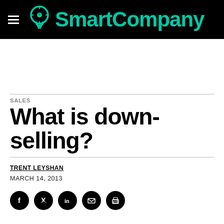SmartCompany
SALES
What is down-selling?
TRENT LEYSHAN
MARCH 14, 2013